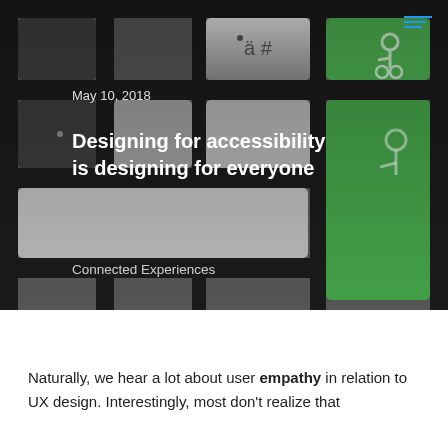[Figure (photo): Close-up photograph of a keyboard with grey keys and a green accessibility key showing the wheelchair symbol. A key with 'ä #' is visible in the upper area. Dark gaps between keys are visible.]
May 10, 2018
Designing for accessibility is designing for everyone
Connected Experiences
Naturally, we hear a lot about user empathy in relation to UX design. Interestingly, most don't realize that